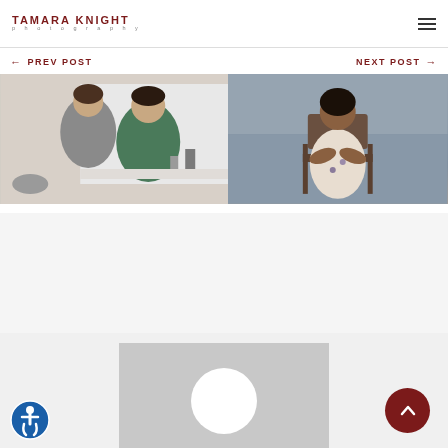TAMARA KNIGHT photography
← PREV POST
[Figure (photo): Two women posing together in an office/studio setting, one in gray and one in green]
NEXT POST →
[Figure (photo): Woman in floral dress seated in a chair against a gray background]
[Figure (photo): Placeholder image with gray background and white circle, partially visible at bottom of page]